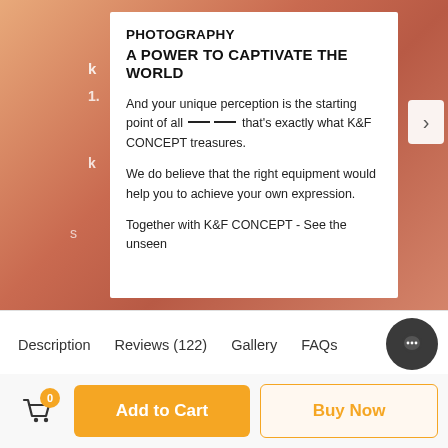[Figure (screenshot): Product banner for K&F CONCEPT photography equipment showing a warm gradient background with a white card overlay containing marketing text]
PHOTOGRAPHY
A POWER TO CAPTIVATE THE WORLD
And your unique perception is the starting point of all —— that's exactly what K&F CONCEPT treasures.
We do believe that the right equipment would help you to achieve your own expression.
Together with K&F CONCEPT - See the unseen
Description
Reviews (122)
Gallery
FAQs